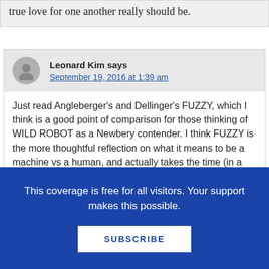true love for one another really should be.
Leonard Kim says
September 19, 2016 at 1:39 am
Just read Angleberger's and Dellinger's FUZZY, which I think is a good point of comparison for those thinking of WILD ROBOT as a Newbery contender. I think FUZZY is the more thoughtful reflection on what it means to be a machine vs a human, and actually takes the time (in a scene tha...
This coverage is free for all visitors. Your support makes this possible.
SUBSCRIBE